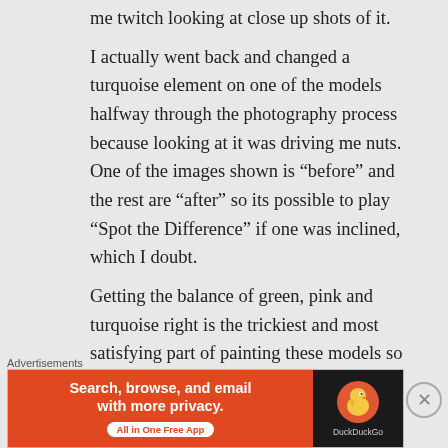me twitch looking at close up shots of it.
I actually went back and changed a turquoise element on one of the models halfway through the photography process because looking at it was driving me nuts. One of the images shown is “before” and the rest are “after” so its possible to play “Spot the Difference” if one was inclined, which I doubt.
Getting the balance of green, pink and turquoise right is the trickiest and most satisfying part of painting these models so
Advertisements
[Figure (screenshot): DuckDuckGo advertisement banner: orange left panel with text 'Search, browse, and email with more privacy. All in One Free App' and dark right panel with DuckDuckGo duck logo and brand name.]